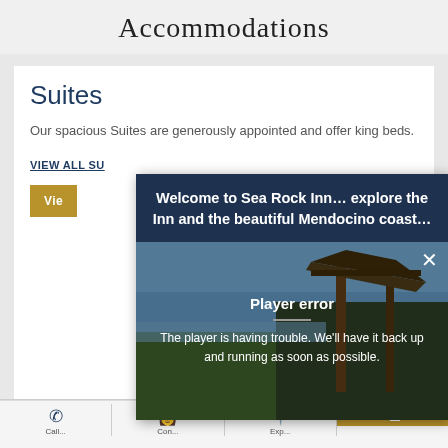Accommodations
Suites
Our spacious Suites are generously appointed and offer king beds.
VIEW ALL SU
[Figure (screenshot): Popup overlay on hotel website showing video player with 'Welcome to Sea Rock Inn... explore the Inn and the beautiful Mendocino coast...' header and a player error message reading 'The player is having trouble. We'll have it back up and running as soon as possible.' with a close X button. Background shows a coastal scene with a wooden structure.]